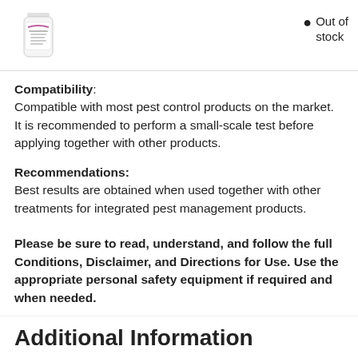[Figure (photo): Product bottle image for Casagen or similar pest control product]
● Out of stock
Compatibility: Compatible with most pest control products on the market. It is recommended to perform a small-scale test before applying together with other products.
Recommendations: Best results are obtained when used together with other treatments for integrated pest management products.
Please be sure to read, understand, and follow the full Conditions, Disclaimer, and Directions for Use. Use the appropriate personal safety equipment if required and when needed.
Additional Information